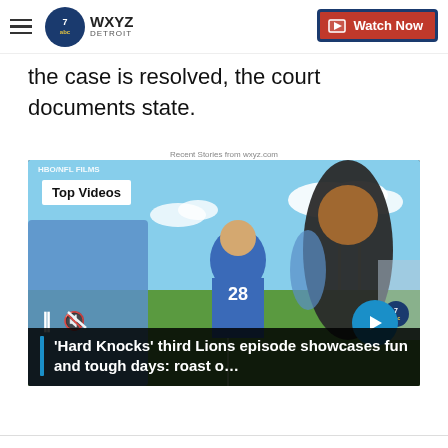WXYZ Detroit — Watch Now
the case is resolved, the court documents state.
Recent Stories from wxyz.com
[Figure (screenshot): Video thumbnail showing Detroit Lions football players at training camp. Overlay shows 'Top Videos' badge, player controls (pause button, mute icon), a forward arrow button, and WXYZ logo watermark. HBO/NFL FILMS label at top left.]
'Hard Knocks' third Lions episode showcases fun and tough days: roast o…